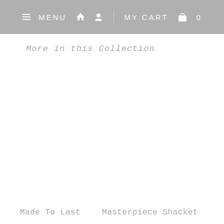MENU  MY CART  0
More in this Collection
Made To Last
Masterpiece Shacket